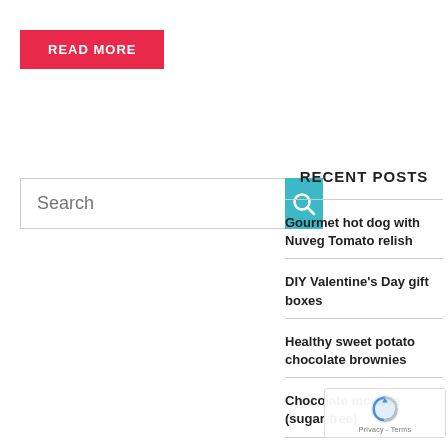READ MORE
Search
RECENT POSTS
Gourmet hot dog with Nuveg Tomato relish
DIY Valentine's Day gift boxes
Healthy sweet potato chocolate brownies
Chocolate mousse (sugar-free)
Peppermint Chocolate mousse